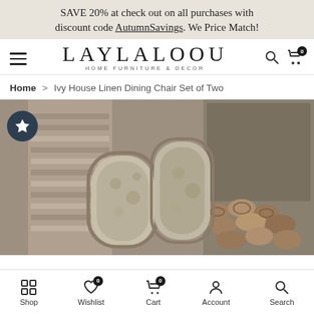SAVE 20% at check out on all purchases with discount code AutumnSavings. We Price Match!
[Figure (logo): Laylaloou Home Furniture & Decor logo with hamburger menu icon, search icon, and cart icon with 0 badge]
Home > Ivy House Linen Dining Chair Set of Two
[Figure (photo): Product photo of Ivy House Linen Dining Chair Set of Two showing floral upholstered dining chairs with wooden frame against rustic wooden shutter background with stacked logs]
Shop | Wishlist (0) | Cart (0) | Account | Search